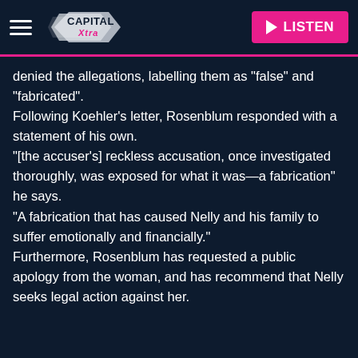[Figure (logo): Capital Xtra radio station logo with hamburger menu icon on left and LISTEN button on right]
denied the allegations, labelling them as "false" and "fabricated".
Following Koehler's letter, Rosenblum responded with a statement of his own.
"[the accuser's] reckless accusation, once investigated thoroughly, was exposed for what it was—a fabrication" he says.
"A fabrication that has caused Nelly and his family to suffer emotionally and financially."
Furthermore, Rosenblum has requested a public apology from the woman, and has recommend that Nelly seeks legal action against her.